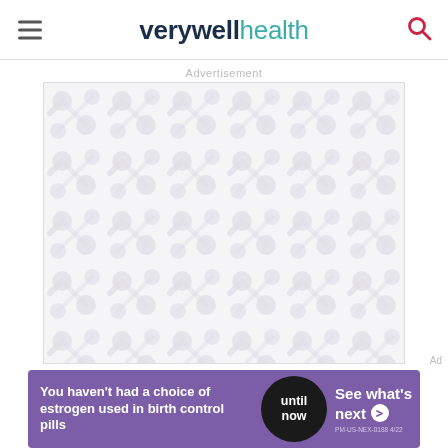verywell health
Advertisement
[Figure (other): Advertisement placeholder with decorative blob/molecule pattern in light grey on white background]
[Figure (other): Bottom banner ad: You haven't had a choice of estrogen used in birth control pills | until now | See what's next > | PM-US-NEX-0188 4/22]